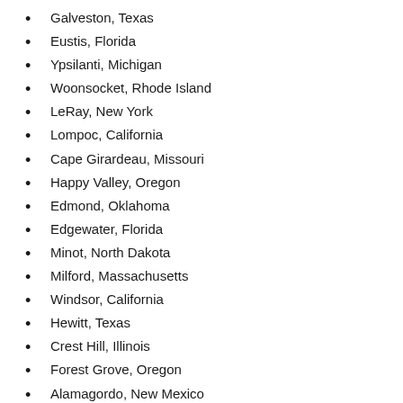Galveston, Texas
Eustis, Florida
Ypsilanti, Michigan
Woonsocket, Rhode Island
LeRay, New York
Lompoc, California
Cape Girardeau, Missouri
Happy Valley, Oregon
Edmond, Oklahoma
Edgewater, Florida
Minot, North Dakota
Milford, Massachusetts
Windsor, California
Hewitt, Texas
Crest Hill, Illinois
Forest Grove, Oregon
Alamagordo, New Mexico